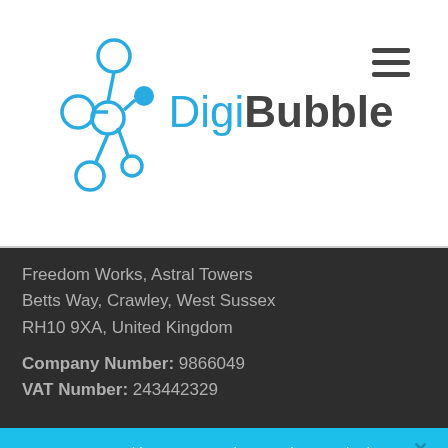[Figure (logo): DigiBubble logo with network node graphic and text 'DigiBubble']
Freedom Works, Astral Towers
Betts Way, Crawley, West Sussex
RH10 9XA, United Kingdom
Company Number: 9866049
VAT Number: 243442329
We use cookies to ensure that we give you the best experience on our website. If you continue to use this site we will assume that you are happy with it.
Accept
Privacy policy